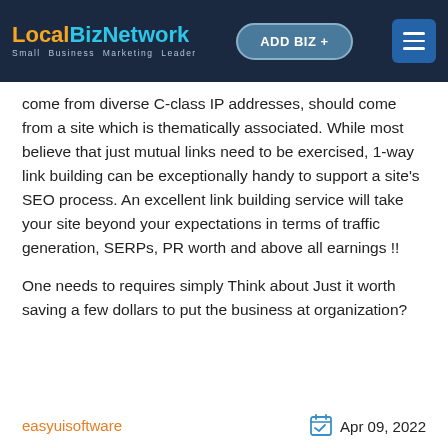LocalBizNetwork — Small Business Marketing Leader | ADD BIZ + | Menu
come from diverse C-class IP addresses, should come from a site which is thematically associated. While most believe that just mutual links need to be exercised, 1-way link building can be exceptionally handy to support a site's SEO process. An excellent link building service will take your site beyond your expectations in terms of traffic generation, SERPs, PR worth and above all earnings !!
One needs to requires simply Think about Just it worth saving a few dollars to put the business at organization?
easyuisoftware
Apr 09, 2022